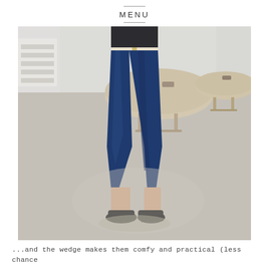MENU
[Figure (photo): A person standing in what appears to be a shoe store or mall, wearing dark blue skinny jeans with a white belt and black wedge shoes. The background shows circular display tables with shoes.]
...and the wedge makes them comfy and practical (less chance